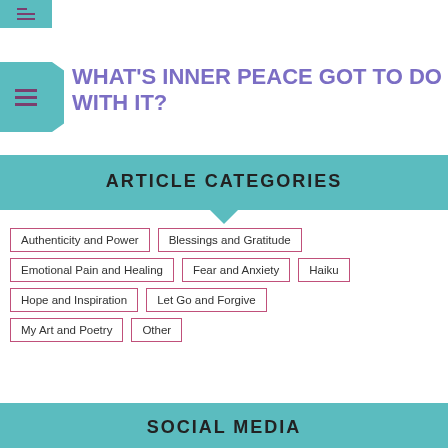WHAT'S INNER PEACE GOT TO DO WITH IT?
ARTICLE CATEGORIES
Authenticity and Power
Blessings and Gratitude
Emotional Pain and Healing
Fear and Anxiety
Haiku
Hope and Inspiration
Let Go and Forgive
My Art and Poetry
Other
SOCIAL MEDIA